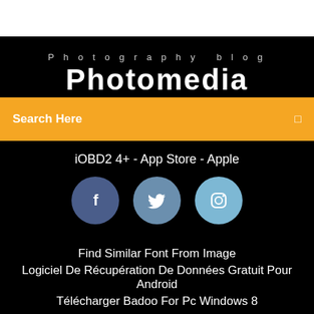Photography blog
Photomedia
Search Here
iOBD2 4+ - App Store - Apple
[Figure (illustration): Three social media icon circles: Facebook (dark blue), Twitter (medium blue), Instagram (light blue)]
Find Similar Font From Image
Logiciel De Récupération De Données Gratuit Pour Android
Télécharger Badoo For Pc Windows 8